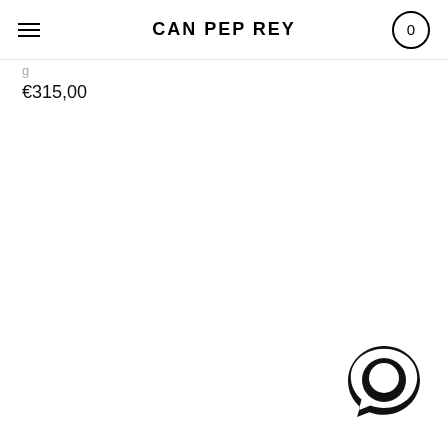CAN PEP REY
g
€315,00
[Figure (logo): Chat bubble / messaging icon — thick black circle with a circular cutout and a speech bubble tail, bottom-right corner of page]